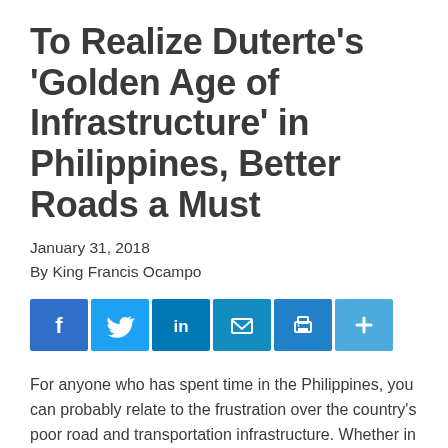To Realize Duterte's 'Golden Age of Infrastructure' in Philippines, Better Roads a Must
January 31, 2018
By King Francis Ocampo
[Figure (other): Social media sharing buttons: Facebook, Twitter, LinkedIn, Email, Print, More]
For anyone who has spent time in the Philippines, you can probably relate to the frustration over the country's poor road and transportation infrastructure. Whether in metro Manila, where an average commuter